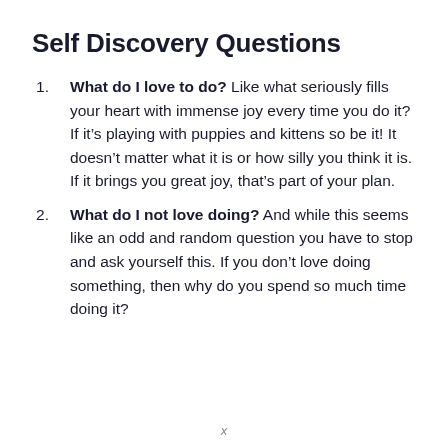Self Discovery Questions
What do I love to do? Like what seriously fills your heart with immense joy every time you do it? If it’s playing with puppies and kittens so be it! It doesn’t matter what it is or how silly you think it is. If it brings you great joy, that’s part of your plan.
What do I not love doing? And while this seems like an odd and random question you have to stop and ask yourself this. If you don’t love doing something, then why do you spend so much time doing it?
x